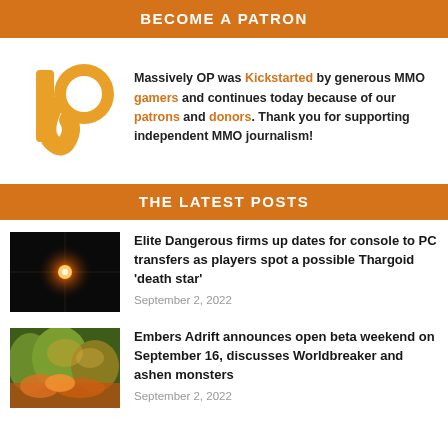BECOME A PATRON
Massively OP was Kickstarted by generous MMO gamers and continues today because of our patrons and donors. Thank you for supporting independent MMO journalism!
THE LATEST POSTS
[Figure (photo): Thumbnail image showing a bright orange/red star or light source against a dark black space background (Elite Dangerous screenshot)]
Elite Dangerous firms up dates for console to PC transfers as players spot a possible Thargoid 'death star'
September 2, 2022
[Figure (photo): Thumbnail image showing a lush forest scene with orange and golden foliage and fire elements (Embers Adrift screenshot)]
Embers Adrift announces open beta weekend on September 16, discusses Worldbreaker and ashen monsters
September 2, 2022